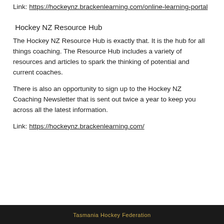Link: https://hockeynz.brackenlearning.com/online-learning-portal
Hockey NZ Resource Hub
The Hockey NZ Resource Hub is exactly that. It is the hub for all things coaching. The Resource Hub includes a variety of resources and articles to spark the thinking of potential and current coaches.
There is also an opportunity to sign up to the Hockey NZ Coaching Newsletter that is sent out twice a year to keep you across all the latest information.
Link: https://hockeynz.brackenlearning.com/
Tasmania Hockey Federation